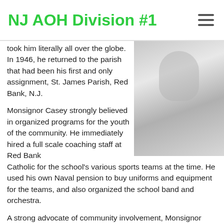NJ AOH Division #1
[Figure (photo): Black and white portrait photo of a man in clerical/formal attire]
took him literally all over the globe. In 1946, he returned to the parish that had been his first and only assignment, St. James Parish, Red Bank, N.J.
Monsignor Casey strongly believed in organized programs for the youth of the community. He immediately hired a full scale coaching staff at Red Bank Catholic for the school's various sports teams at the time. He used his own Naval pension to buy uniforms and equipment for the teams, and also organized the school band and orchestra.
A strong advocate of community involvement, Monsignor Casey founded the Legal Aid Society of Monmouth County. He was on the planning board of the local Red Cross and he sat on the Board of Governors of Monmouth Medical Center, a local hospital.
Well into his eighties, having long since retired from Red Bank